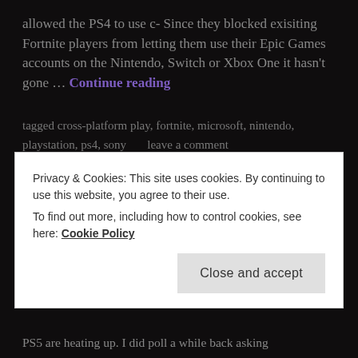allowed the PS4 to use c- Since they blocked exisiting Fortnite players from letting them use their Epic Games accounts on the Nintendo, Switch or Xbox One it hasn't gone … Continue reading
tagged cross-platform play, fortnite, microsoft, nintendo, playstation, ps4, sony      leave a comment
PS5 Rumors: It's not coming this year!
Privacy & Cookies: This site uses cookies. By continuing to use this website, you agree to their use.
To find out more, including how to control cookies, see here: Cookie Policy
Close and accept
PS5 are heating up. I did poll a while back asking